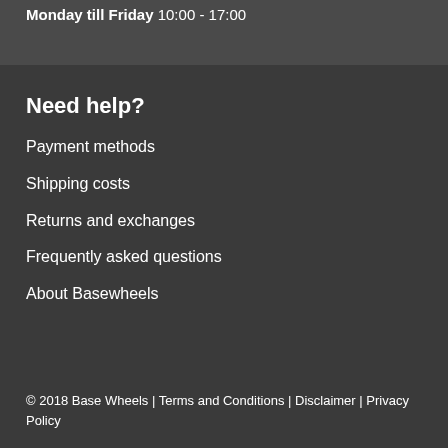Monday till Friday 10:00 - 17:00
Need help?
Payment methods
Shipping costs
Returns and exchanges
Frequently asked questions
About Basewheels
© 2018 Base Wheels | Terms and Conditions | Disclaimer | Privacy Policy